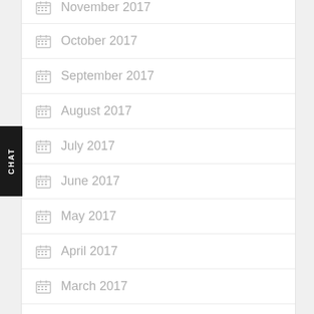November 2017
October 2017
September 2017
August 2017
July 2017
June 2017
May 2017
April 2017
March 2017
February 2017
CATEGORIES